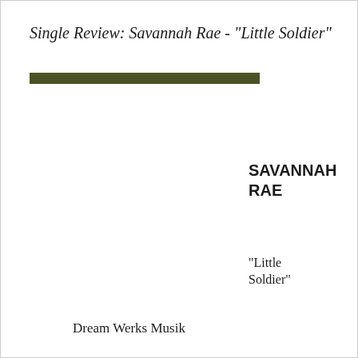Single Review: Savannah Rae - "Little Soldier"
[Figure (other): Olive/dark green horizontal rule bar]
SAVANNAH RAE
"Little Soldier"
Dream Werks Musik